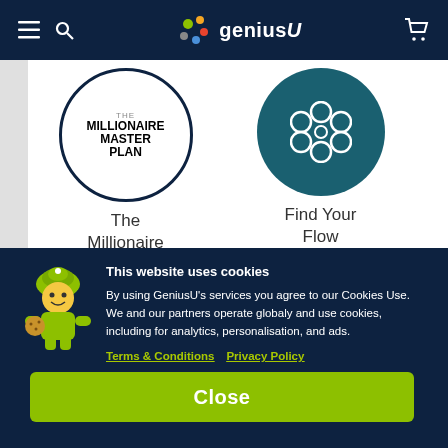geniusU
[Figure (screenshot): Website screenshot of geniusU platform showing two products: 'The Millionaire Master Plan' book cover in a circular frame and 'Find Your Flow' with a flower icon in a teal circle]
This website uses cookies
By using GeniusU's services you agree to our Cookies Use. We and our partners operate globaly and use cookies, including for analytics, personalisation, and ads.
Terms & Conditions   Privacy Policy
Close